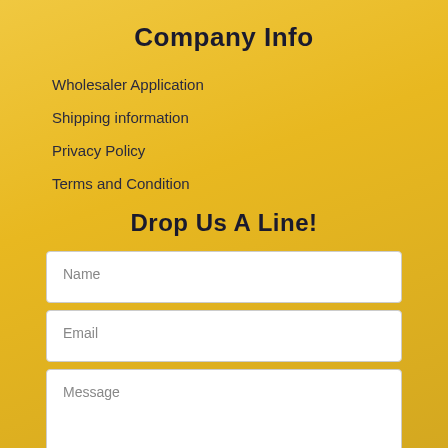Company Info
Wholesaler Application
Shipping information
Privacy Policy
Terms and Condition
Drop Us A Line!
Name
Email
Message
[Figure (other): reCAPTCHA verification widget showing partial checkbox and reCAPTCHA logo]